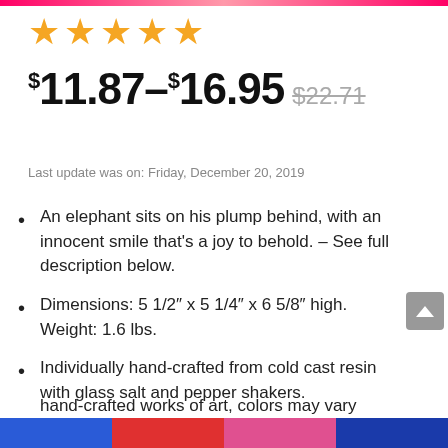[Figure (other): Five orange star rating icons]
$11.87 – $16.95 $22.71 (strikethrough)
Last update was on: Friday, December 20, 2019
An elephant sits on his plump behind, with an innocent smile that's a joy to behold. – See full description below.
Dimensions: 5 1/2″ x 5 1/4″ x 6 5/8″ high. Weight: 1.6 lbs.
Individually hand-crafted from cold cast resin with glass salt and pepper shakers.
Because our polyresin products are individually hand-crafted works of art, colors may vary slightly